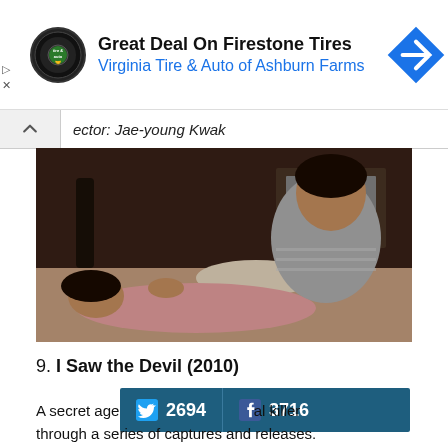[Figure (other): Advertisement banner: Virginia Tire & Auto logo (tire & auto circular badge), text 'Great Deal On Firestone Tires' and 'Virginia Tire & Auto of Ashburn Farms' in blue, blue diamond navigation arrow icon on right]
ector: Jae-young Kwak
[Figure (photo): Movie still showing two Asian people lying/sitting on a bed, looking at each other. One person in striped shirt sits up, the other in pink shirt lies down. Indoor scene with furniture in background.]
9. I Saw the Devil (2010)
[Figure (other): Social sharing bar showing Twitter count 2694 and Facebook count 3716 on dark blue/teal background]
A secret age[nt hunts down a serial killer through a series of captures and releases.